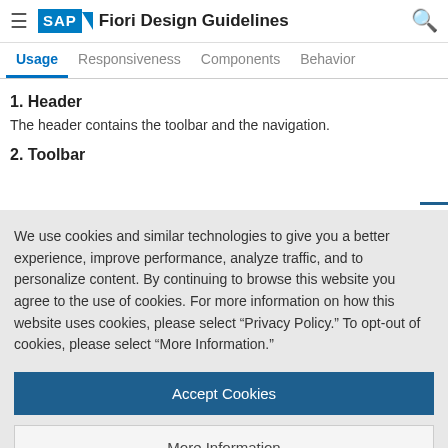SAP Fiori Design Guidelines
Usage | Responsiveness | Components | Behavior
1. Header
The header contains the toolbar and the navigation.
2. Toolbar
We use cookies and similar technologies to give you a better experience, improve performance, analyze traffic, and to personalize content. By continuing to browse this website you agree to the use of cookies. For more information on how this website uses cookies, please select “Privacy Policy.” To opt-out of cookies, please select “More Information.”
Accept Cookies
More Information
Privacy Policy | Powered by: TrustArc
different time intervals. The default views are day, work